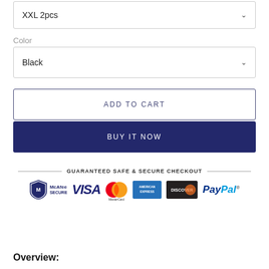XXL 2pcs
Color
Black
ADD TO CART
BUY IT NOW
[Figure (infographic): Guaranteed Safe & Secure Checkout banner with payment icons: McAfee SECURE, VISA, MasterCard, American Express, Discover, PayPal]
Overview: